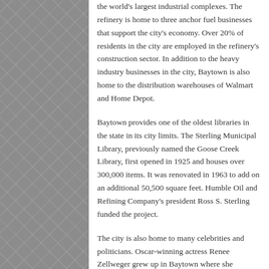the world's largest industrial complexes. The refinery is home to three anchor fuel businesses that support the city's economy. Over 20% of residents in the city are employed in the refinery's construction sector. In addition to the heavy industry businesses in the city, Baytown is also home to the distribution warehouses of Walmart and Home Depot.
Baytown provides one of the oldest libraries in the state in its city limits. The Sterling Municipal Library, previously named the Goose Creek Library, first opened in 1925 and houses over 300,000 items. It was renovated in 1963 to add on an additional 50,500 square feet. Humble Oil and Refining Company's president Ross S. Sterling funded the project.
The city is also home to many celebrities and politicians. Oscar-winning actress Renee Zellweger grew up in Baytown where she attended middle school. Wildcard actor Gary Busey was born and raised in the city before his